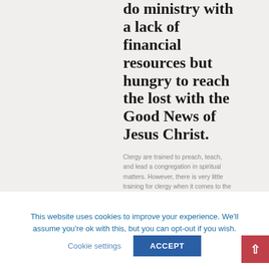do ministry with a lack of financial resources but hungry to reach the lost with the Good News of Jesus Christ.
Clergy are trained to preach, teach, and lead a congregation in spiritual matters. However, there is very little training for clergy when it comes to the "business" matters of the church-finances, debt reduction, fundraising, and building maintenance. The added and sometimes unexpected load for clergy can become cumbersome and extremely stressful. In addition, the decline of the church and the passing of key funders of churches leave many pastors with dying churches and few resources to do anything about
This website uses cookies to improve your experience. We'll assume you're ok with this, but you can opt-out if you wish.
Cookie settings
ACCEPT